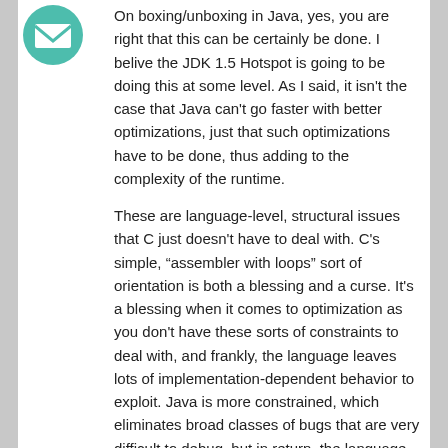[Figure (logo): Teal/green envelope icon avatar in top left corner]
On boxing/unboxing in Java, yes, you are right that this can be certainly be done. I belive the JDK 1.5 Hotspot is going to be doing this at some level. As I said, it isn't the case that Java can't go faster with better optimizations, just that such optimizations have to be done, thus adding to the complexity of the runtime.
These are language-level, structural issues that C just doesn't have to deal with. C's simple, “assembler with loops” sort of orientation is both a blessing and a curse. It's a blessing when it comes to optimization as you don't have these sorts of constraints to deal with, and frankly, the language leaves lots of implementation-dependent behavior to exploit. Java is more constrained, which eliminates broad classes of bugs that are very difficult to debug, but in return, the language exacts an overhead which the JVM compilers all